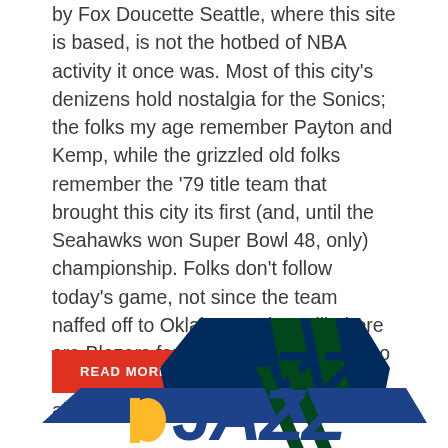by Fox Doucette Seattle, where this site is based, is not the hotbed of NBA activity it once was. Most of this city's denizens hold nostalgia for the Sonics; the folks my age remember Payton and Kemp, while the grizzled old folks remember the '79 title team that brought this city its first (and, until the Seahawks won Super Bowl 48, only) championship. Folks don't follow today's game, not since the team naffed off to Oklahoma City. Still, there are Blazers fans in the midst, folks who decided that the dream of the '90s is alive in Portland, at least ...
[Figure (logo): Utah Jazz basketball team logo — dark blue and green angular lettering partially visible at bottom of page]